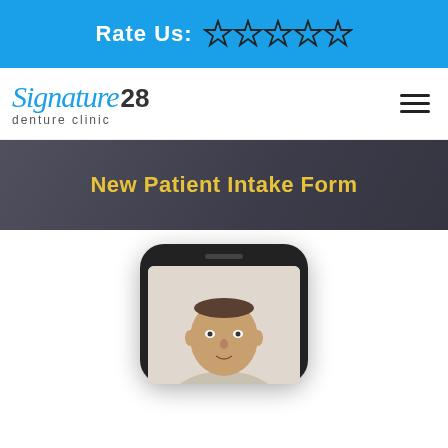Rate Us: ☆ ☆ ☆ ☆ ☆
[Figure (logo): Signature 28 Denture Clinic logo with script font and number 28]
New Patient Intake Form
[Figure (photo): Smartphone mockup displaying a photo of a man's face/head, shown on the phone screen]